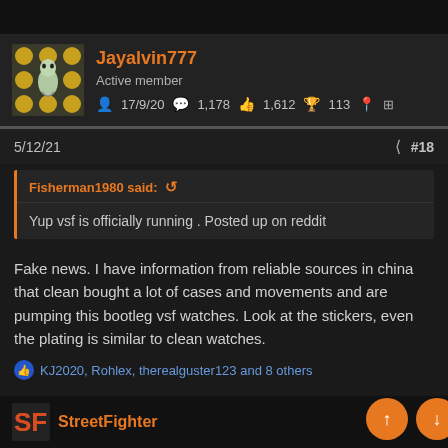Jayalvin777 — Active member — 17/9/20 — 1,178 — 1,612 — 113
5/12/21  #18
Fisherman1980 said: ↺
Yup vsf is officially running . Posted up on reddit
Fake news. I have information from reliable sources in china that clean bought a lot of cases and movements and are pumping this bootleg vsf watches. Look at the stickers, even the plating is similar to clean watches.
KJ2020, Rohlex, therealguster123 and 8 others
StreetFighter